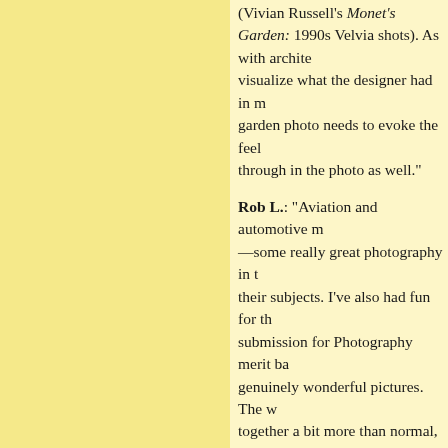(Vivian Russell's Monet's Garden: 1990s Velvia shots). As with architects, visualize what the designer had in mind—a garden photo needs to evoke the feel—come through in the photo as well."

Rob L.: "Aviation and automotive magazines—some really great photography in them of their subjects. I've also had fun for the last submission for Photography merit badges—genuinely wonderful pictures. The work, put together a bit more than normal, are smiling a lot, as did the photo essay 'Dinner.' I dunno, stop treating photography as conversation and it's a lot more fun."

Dave: "How about nasa.gov? Artful photos of the equipment used on missions. S

Ed G.: I'm a bird-watcher and I look Library often. There's a searchable i